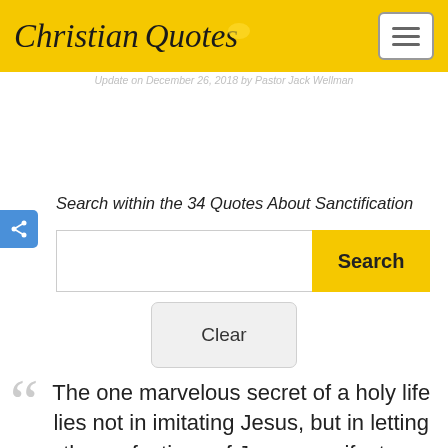Christian Quotes
Update on December 26, 2018 by Pastor Jack Wellman
Search within the 34 Quotes About Sanctification
The one marvelous secret of a holy life lies not in imitating Jesus, but in letting the perfections of Jesus manifest themselves in my mortal flesh. Sanctification is "Christ in you."...